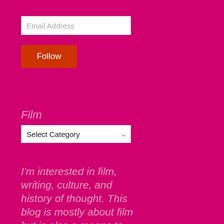Email Address
Follow
Film
Select Category
I'm interested in film, writing, culture, and history of thought. This blog is mostly about film but is also a means to develop...